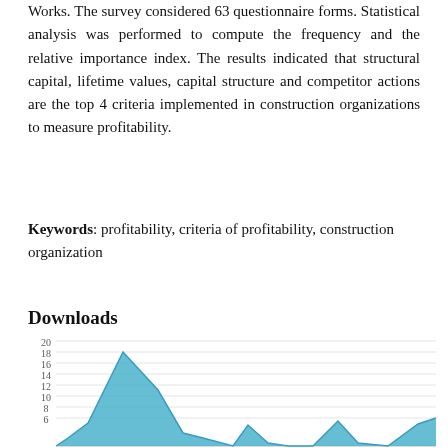Works. The survey considered 63 questionnaire forms. Statistical analysis was performed to compute the frequency and the relative importance index. The results indicated that structural capital, lifetime values, capital structure and competitor actions are the top 4 criteria implemented in construction organizations to measure profitability.
Keywords: profitability, criteria of profitability, construction organization
Downloads
[Figure (area-chart): Area chart showing downloads over time, with a peak of 18, and smaller peaks around 4-5 at later intervals. Y-axis from 0 to 20 with gridlines at 6,8,10,12,14,16,18,20.]